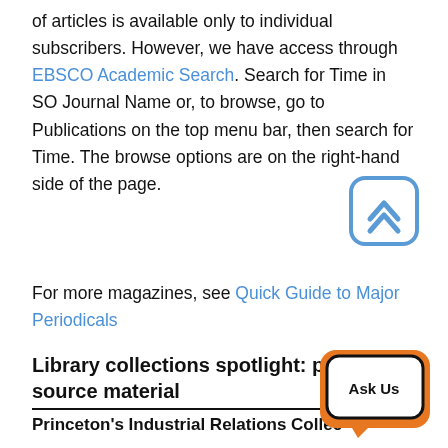of articles is available only to individual subscribers. However, we have access through EBSCO Academic Search. Search for Time in SO Journal Name or, to browse, go to Publications on the top menu bar, then search for Time. The browse options are on the right-hand side of the page.
[Figure (other): Scroll-to-top button: rounded square icon with double up-chevron arrows, blue border]
For more magazines, see Quick Guide to Major Periodicals
Library collections spotlight: primary source material
Princeton's Industrial Relations Collec…
[Figure (other): Ask Us chat button: orange rounded square with speech bubble and text 'Ask Us']